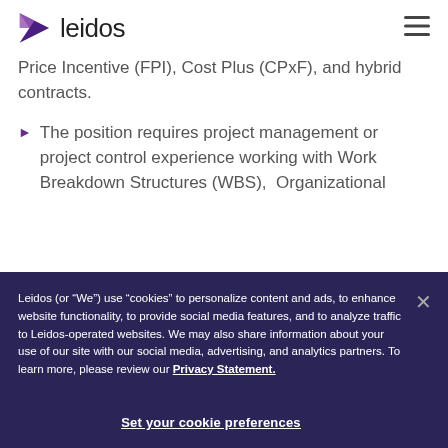leidos
Price Incentive (FPI), Cost Plus (CPxF), and hybrid contracts.
The position requires project management or project control experience working with Work Breakdown Structures (WBS), Organizational
Leidos (or “We”) use “cookies” to personalize content and ads, to enhance website functionality, to provide social media features, and to analyze traffic to Leidos-operated websites. We may also share information about your use of our site with our social media, advertising, and analytics partners. To learn more, please review our Privacy Statement.
Set your cookie preferences